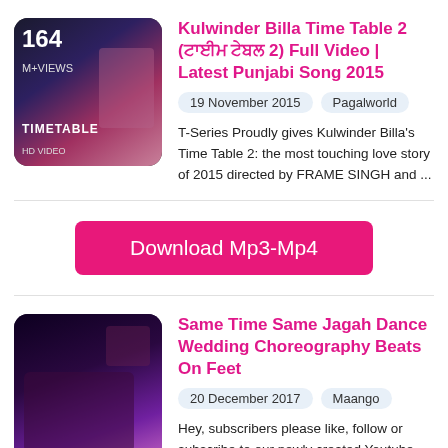[Figure (photo): Thumbnail image for Kulwinder Billa Time Table 2 video showing two people, with '164 M+ VIEWS' text overlay and 'TIMETABLE 2' branding]
Kulwinder Billa Time Table 2 (ਟਾਈਮ ਟੇਬਲ 2) Full Video | Latest Punjabi Song 2015
19 November 2015    Pagalworld
T-Series Proudly gives Kulwinder Billa's Time Table 2: the most touching love story of 2015 directed by FRAME SINGH and ...
Download Mp3-Mp4
[Figure (photo): Thumbnail image for Same Time Same Jagah Dance Wedding Choreography video showing people dancing at a wedding]
Same Time Same Jagah Dance Wedding Choreography Beats On Feet
20 December 2017    Maango
Hey, subscribers please like, follow or subscribe to our newly created Youtube channel Wed Me Creations.